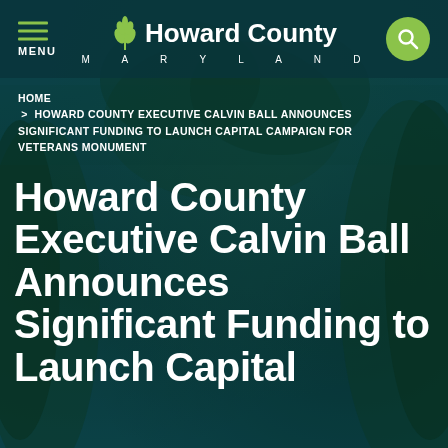MENU | Howard County MARYLAND
HOME > HOWARD COUNTY EXECUTIVE CALVIN BALL ANNOUNCES SIGNIFICANT FUNDING TO LAUNCH CAPITAL CAMPAIGN FOR VETERANS MONUMENT
Howard County Executive Calvin Ball Announces Significant Funding to Launch Capital